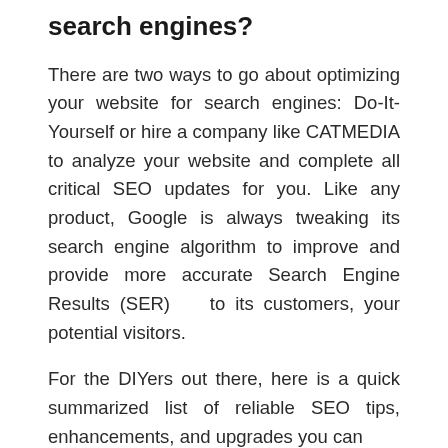search engines?
There are two ways to go about optimizing your website for search engines: Do-It-Yourself or hire a company like CATMEDIA to analyze your website and complete all critical SEO updates for you. Like any product, Google is always tweaking its search engine algorithm to improve and provide more accurate Search Engine Results (SER) to its customers, your potential visitors.
For the DIYers out there, here is a quick summarized list of reliable SEO tips, enhancements, and upgrades you can